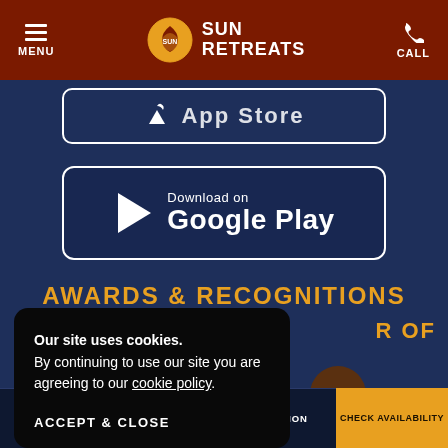MENU | SUN RETREATS | CALL
[Figure (screenshot): App Store download button (partially visible)]
[Figure (screenshot): Google Play download button with play icon]
AWARDS & RECOGNITIONS
[Figure (logo): Green Friendly badge/seal (partially visible)]
[Figure (logo): SRY logo and partial brown badge on right]
Our site uses cookies.
By continuing to use our site you are agreeing to our cookie policy.
ACCEPT & CLOSE
WAYS TO STAY | OFFERS | LOCATION | CHECK AVAILABILITY